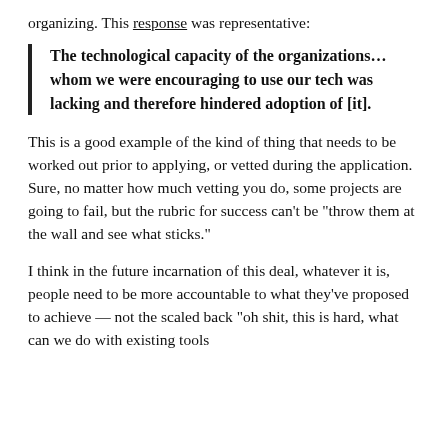organizing. This response was representative:
The technological capacity of the organizations... whom we were encouraging to use our tech was lacking and therefore hindered adoption of [it].
This is a good example of the kind of thing that needs to be worked out prior to applying, or vetted during the application. Sure, no matter how much vetting you do, some projects are going to fail, but the rubric for success can't be “throw them at the wall and see what sticks.”
I think in the future incarnation of this deal, whatever it is, people need to be more accountable to what they’ve proposed to achieve — not the scaled back “oh shit, this is hard, what can we do with existing tools